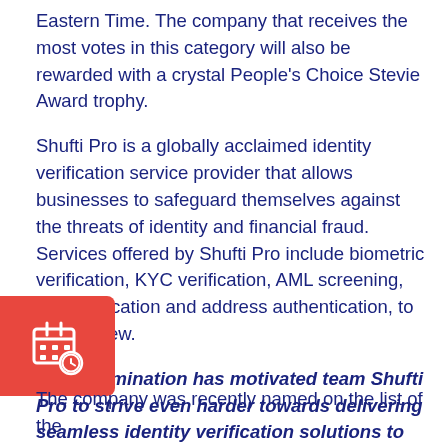Eastern Time. The company that receives the most votes in this category will also be rewarded with a crystal People's Choice Stevie Award trophy.
Shufti Pro is a globally acclaimed identity verification service provider that allows businesses to safeguard themselves against the threats of identity and financial fraud. Services offered by Shufti Pro include biometric verification, KYC verification, AML screening, age verification and address authentication, to name a few.
“This nomination has motivated team Shufti Pro to strive even harder towards delivering seamless identity verification solutions to our global customers,”
commented Victor Fredung, CEO and founder of Shufti Pro.
The company was recently named on the list of the